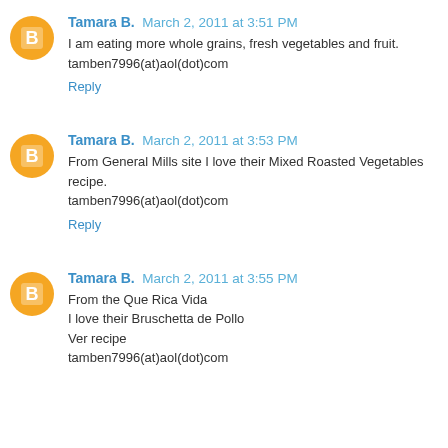Tamara B. March 2, 2011 at 3:51 PM
I am eating more whole grains, fresh vegetables and fruit.
tamben7996(at)aol(dot)com
Reply
Tamara B. March 2, 2011 at 3:53 PM
From General Mills site I love their Mixed Roasted Vegetables
recipe.
tamben7996(at)aol(dot)com
Reply
Tamara B. March 2, 2011 at 3:55 PM
From the Que Rica Vida
I love their Bruschetta de Pollo
Ver recipe
tamben7996(at)aol(dot)com